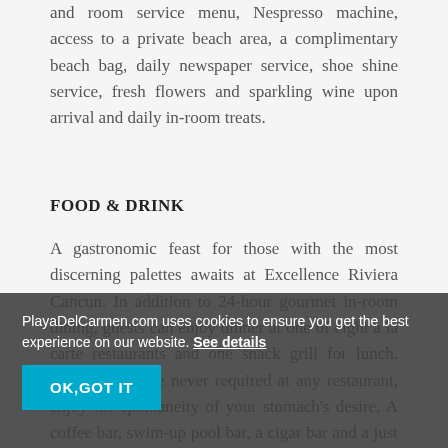and room service menu, Nespresso machine, access to a private beach area, a complimentary beach bag, daily newspaper service, shoe shine service, fresh flowers and sparkling wine upon arrival and daily in-room treats.
FOOD & DRINK
A gastronomic feast for those with the most discerning palettes awaits at Excellence Riviera Cancun. In addition to 24-hour gourmet in-room dining, guests can enjoy dinner at one of eight a la carte restaurants and one snack grill for lunch. Reservations are never required at any restaurant, enjoy the spontaneity of your stomach's desire. A coffee bar, swim-up pool bar, a cigar bar and a just a few of the 10 different bars you'll find throughout the resort.
PlayaDelCarmen.com uses cookies to ensure you get the best experience on our website. See details
OK,GOT IT